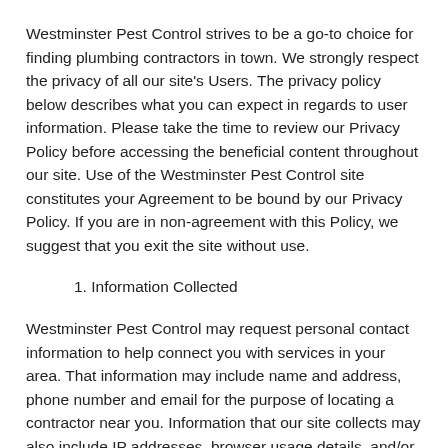Westminster Pest Control strives to be a go-to choice for finding plumbing contractors in town. We strongly respect the privacy of all our site's Users. The privacy policy below describes what you can expect in regards to user information. Please take the time to review our Privacy Policy before accessing the beneficial content throughout our site. Use of the Westminster Pest Control site constitutes your Agreement to be bound by our Privacy Policy. If you are in non-agreement with this Policy, we suggest that you exit the site without use.
1. Information Collected
Westminster Pest Control may request personal contact information to help connect you with services in your area. That information may include name and address, phone number and email for the purpose of locating a contractor near you. Information that our site collects may also include IP addresses, browser usage details, and/or content visited